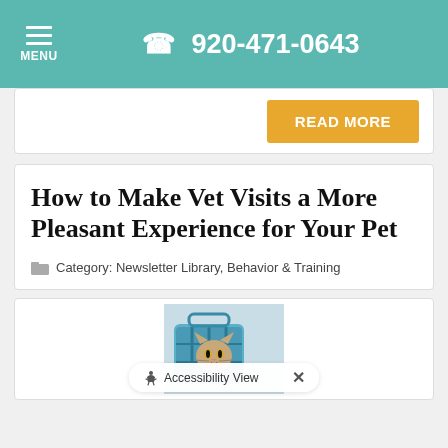☰ MENU  📞 920-471-0643
READ MORE
How to Make Vet Visits a More Pleasant Experience for Your Pet
Category: Newsletter Library, Behavior & Training
[Figure (photo): A cat inside a blue pet carrier, looking forward]
Accessibility View ×